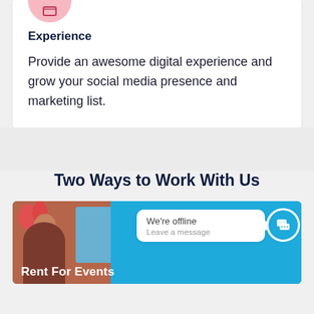[Figure (illustration): Pink circle icon with a symbol inside, partially visible at top]
Experience
Provide an awesome digital experience and grow your social media presence and marketing list.
Two Ways to Work With Us
[Figure (photo): Photo of a woman with balloons and a screen, with a chat bubble overlay saying 'We're offline / Leave a message' and a blue chat icon, and text 'Rent For Events' at the bottom]